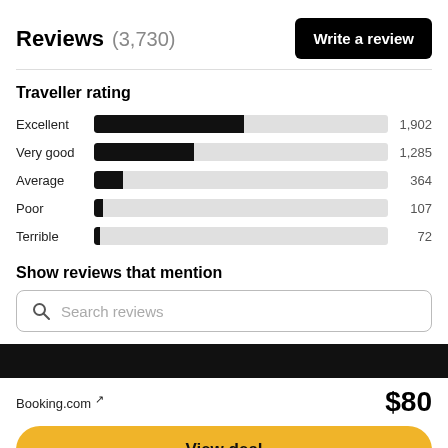Reviews (3,730)
[Figure (bar-chart): Traveller rating]
Show reviews that mention
Search reviews
Booking.com ↗
$80
View deal